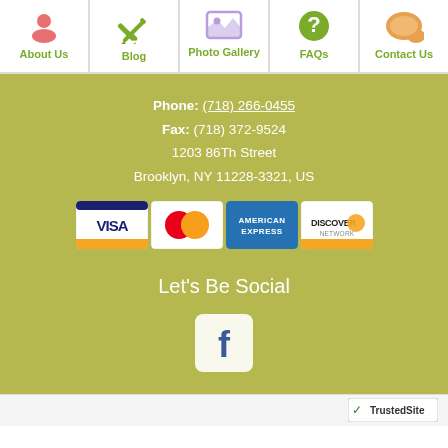About Us | Blog | Photo Gallery | FAQs | Contact Us
Phone: (718) 266-0455
Fax: (718) 372-9524
1203 86Th Street
Brooklyn, NY 11228-3321, US
[Figure (infographic): Payment method icons: Visa, MasterCard, American Express, Discover]
Let's Be Social
[Figure (logo): Facebook icon (white F on rounded square)]
TrustedSite